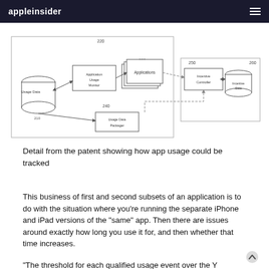appleinsider
[Figure (flowchart): Patent diagram showing app usage tracking system. Components include: Usage Data (cylinder, 210), Application Usage Monitor (box, 220), Applications (stacked boxes, 230), Usage Data Packager (box, 240), Incentive Controller (box, 250), Incentive Data (cylinder, 260). Arrows connect the components showing data flow. Dashed arrows go from Applications and Usage Data Packager to Incentive Controller.]
Detail from the patent showing how app usage could be tracked
This business of first and second subsets of an application is to do with the situation where you're running the separate iPhone and iPad versions of the "same" app. Then there are issues around exactly how long you use it for, and then whether that time increases.
"The threshold for each qualified usage event over the Y